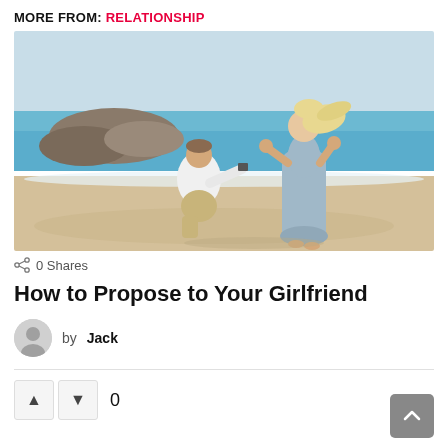MORE FROM: RELATIONSHIP
[Figure (photo): A man on one knee proposing to a woman on a beach. The man is wearing a white shirt and khaki shorts, holding a ring box. The woman is wearing a light blue maxi dress and appears surprised/emotional. Rocky coastline and ocean visible in the background.]
0 Shares
How to Propose to Your Girlfriend
by Jack
0